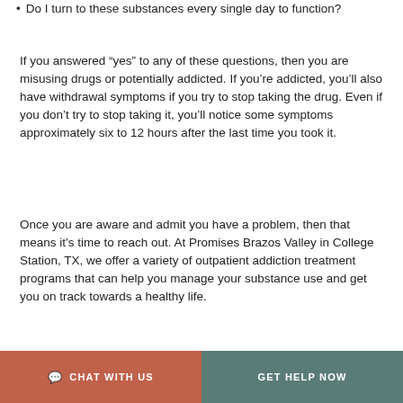Do I turn to these substances every single day to function?
If you answered “yes” to any of these questions, then you are misusing drugs or potentially addicted. If you’re addicted, you’ll also have withdrawal symptoms if you try to stop taking the drug. Even if you don’t try to stop taking it, you’ll notice some symptoms approximately six to 12 hours after the last time you took it.
Once you are aware and admit you have a problem, then that means it’s time to reach out. At Promises Brazos Valley in College Station, TX, we offer a variety of outpatient addiction treatment programs that can help you manage your substance use and get you on track towards a healthy life.
CHAT WITH US   GET HELP NOW